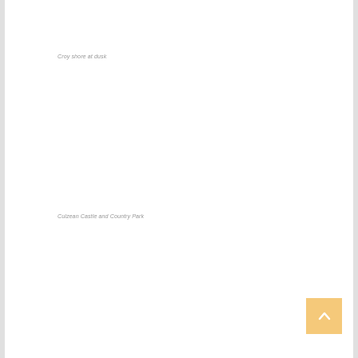Croy shore at dusk
Culzean Castle and Country Park
[Figure (other): Scroll-to-top button with upward chevron arrow on golden/amber background]